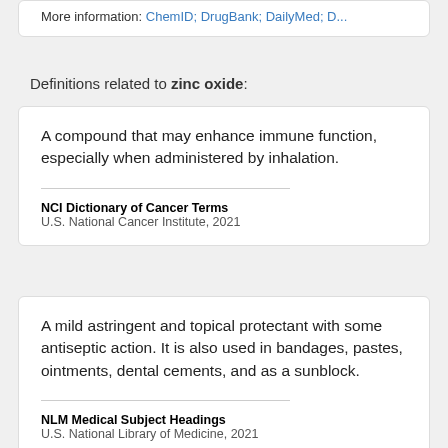More information: ChemID; DrugBank; DailyMed; D...
Definitions related to zinc oxide:
A compound that may enhance immune function, especially when administered by inhalation.
NCI Dictionary of Cancer Terms
U.S. National Cancer Institute, 2021
A mild astringent and topical protectant with some antiseptic action. It is also used in bandages, pastes, ointments, dental cements, and as a sunblock.
NLM Medical Subject Headings
U.S. National Library of Medicine, 2021